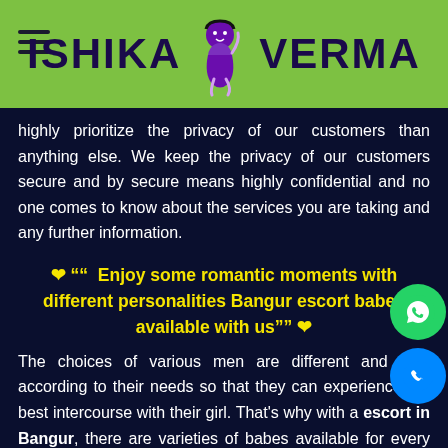ISHIKA VERMA
highly prioritize the privacy of our customers than anything else. We keep the privacy of our customers secure and by secure means highly confidential and no one comes to know about the services you are taking and any further information.
❤ ““  Enjoy some romantic moments with different personalities Bangur escort babes available with us ”” ❤
The choices of various men are different and they according to their needs so that they can experience the best intercourse with their girl. That's why with a escort in Bangur, there are varieties of babes available for every pleasure. They all are well trained in their art and i